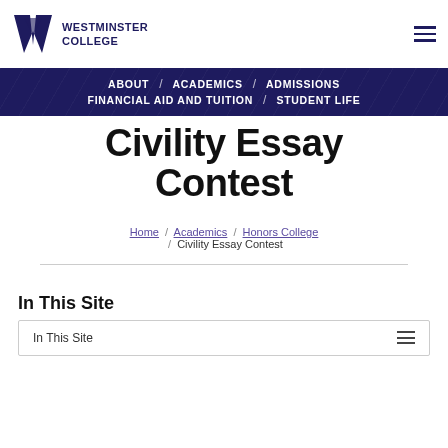[Figure (logo): Westminster College logo with stylized W mark and text]
WESTMINSTER COLLEGE
ABOUT / ACADEMICS / ADMISSIONS / FINANCIAL AID AND TUITION / STUDENT LIFE
Civility Essay Contest
Home / Academics / Honors College / Civility Essay Contest
In This Site
In This Site